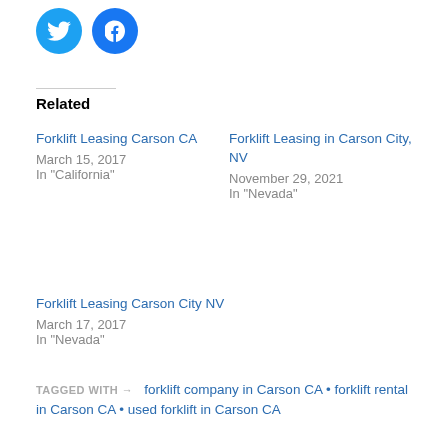[Figure (illustration): Twitter and Facebook social share icon buttons (blue circles with white bird and 'f' logos)]
Related
Forklift Leasing Carson CA
March 15, 2017
In "California"
Forklift Leasing in Carson City, NV
November 29, 2021
In "Nevada"
Forklift Leasing Carson City NV
March 17, 2017
In "Nevada"
TAGGED WITH → forklift company in Carson CA • forklift rental in Carson CA • used forklift in Carson CA